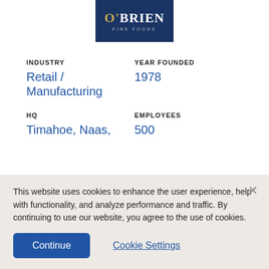[Figure (logo): O'Brien Fine Foods logo — dark navy blue background with white serif text reading O'BRIEN and smaller text FINE FOODS below]
INDUSTRY
YEAR FOUNDED
Retail / Manufacturing
1978
HQ
EMPLOYEES
Timahoe, Naas,
500
This website uses cookies to enhance the user experience, help with functionality, and analyze performance and traffic. By continuing to use our website, you agree to the use of cookies.
Continue
Cookie Settings